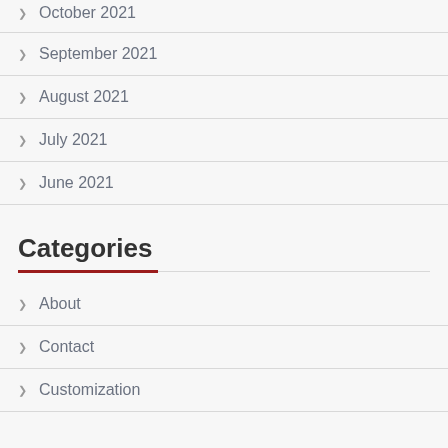October 2021
September 2021
August 2021
July 2021
June 2021
Categories
About
Contact
Customization